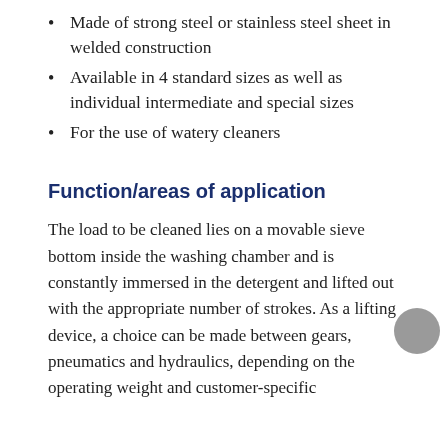Made of strong steel or stainless steel sheet in welded construction
Available in 4 standard sizes as well as individual intermediate and special sizes
For the use of watery cleaners
Function/areas of application
The load to be cleaned lies on a movable sieve bottom inside the washing chamber and is constantly immersed in the detergent and lifted out with the appropriate number of strokes. As a lifting device, a choice can be made between gears, pneumatics and hydraulics, depending on the operating weight and customer-specific